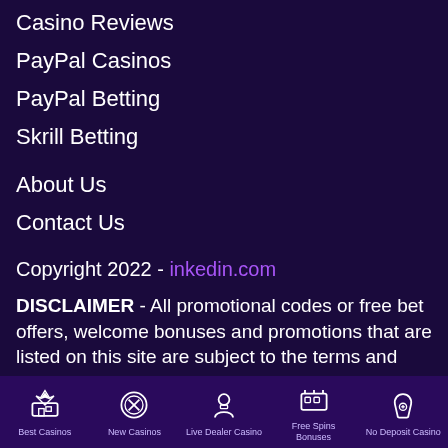Casino Reviews
PayPal Casinos
PayPal Betting
Skrill Betting
About Us
Contact Us
Copyright 2022 - inkedin.com
DISCLAIMER - All promotional codes or free bet offers, welcome bonuses and promotions that are listed on this site are subject to the terms and conditions of the respective operators. COOKIES -
Best Casinos | New Casinos | Live Dealer Casino | Free Spins Bonuses | No Deposit Casino